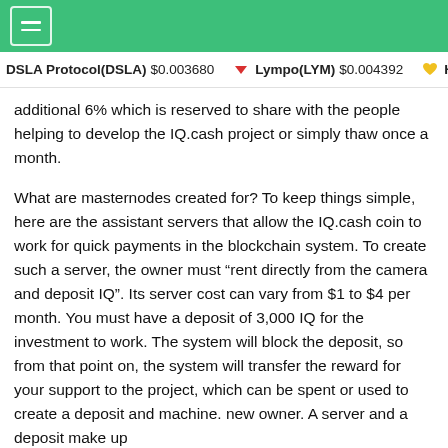DSLA Protocol(DSLA) $0.003680  Lympo(LYM) $0.004392  He
additional 6% which is reserved to share with the people helping to develop the IQ.cash project or simply thaw once a month.
What are masternodes created for? To keep things simple, here are the assistant servers that allow the IQ.cash coin to work for quick payments in the blockchain system. To create such a server, the owner must “rent directly from the camera and deposit IQ”. Its server cost can vary from $1 to $4 per month. You must have a deposit of 3,000 IQ for the investment to work. The system will block the deposit, so from that point on, the system will transfer the reward for your support to the project, which can be spent or used to create a deposit and machine. new owner. A server and a deposit make up